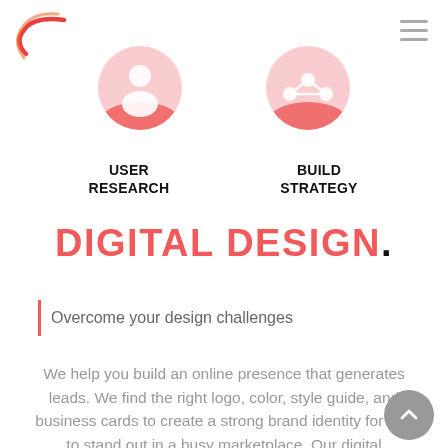[Figure (logo): Red angular swoosh/arrow logo mark]
[Figure (illustration): Hamburger menu icon (three horizontal lines) in gray]
[Figure (illustration): Two pink/red gradient circles with white icons: a person/user icon and a share/network icon]
USER RESEARCH
BUILD STRATEGY
DIGITAL DESIGN.
Overcome your design challenges
We help you build an online presence that generates leads. We find the right logo, color, style guide, and business cards to create a strong brand identity for you to stand out in a busy marketplace. Our digital designers are up to date with the latest software and